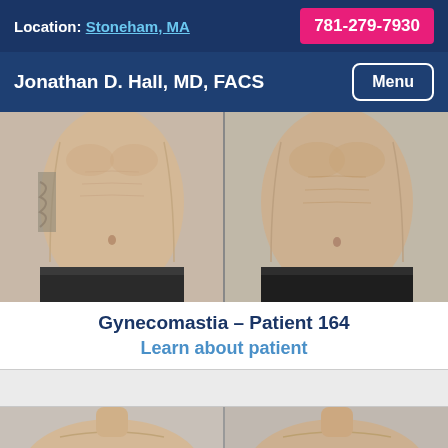Location: Stoneham, MA  781-279-7930
Jonathan D. Hall, MD, FACS  Menu
[Figure (photo): Before and after gynecomastia surgery photos showing male torsos, front view, two side-by-side photos]
Gynecomastia – Patient 164
Learn about patient
[Figure (photo): Before and after gynecomastia surgery photos showing male upper chest/neck area, two side-by-side photos, partially visible at bottom]